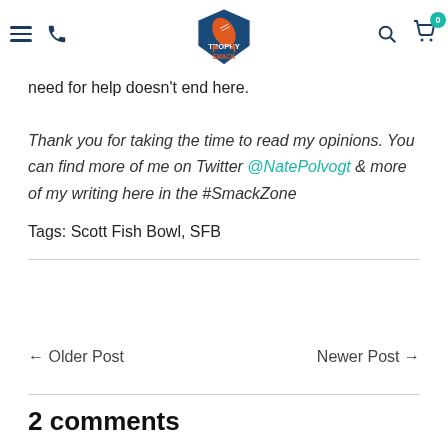Trophy Smack — navigation bar with hamburger, phone, logo, search, cart (0)
need for help doesn't end here.
Thank you for taking the time to read my opinions. You can find more of me on Twitter @NatePolvogt  & more of my writing here in the #SmackZone
Tags: Scott Fish Bowl, SFB
← Older Post
Newer Post →
2 comments